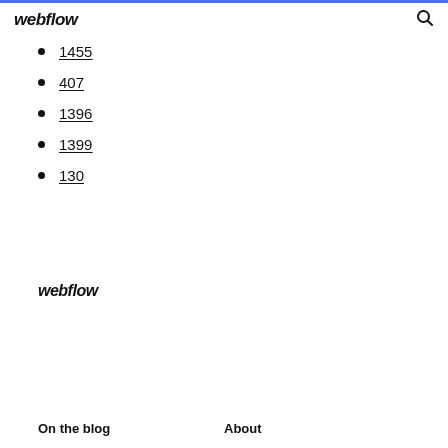webflow
1455
407
1396
1399
130
webflow
On the blog   About